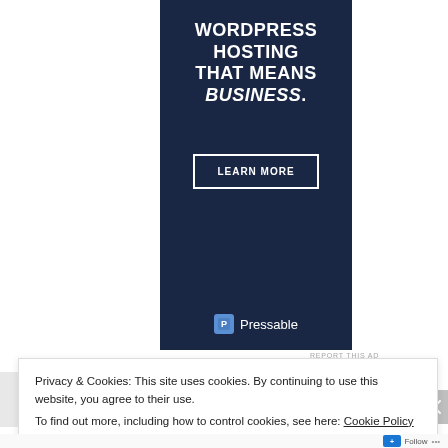[Figure (infographic): Pressable WordPress Hosting advertisement banner with dark navy background. Text reads: WORDPRESS HOSTING THAT MEANS BUSINESS. with a LEARN MORE button and Pressable logo at bottom.]
REPORT THIS AD
Privacy & Cookies: This site uses cookies. By continuing to use this website, you agree to their use. To find out more, including how to control cookies, see here: Cookie Policy
Close and accept